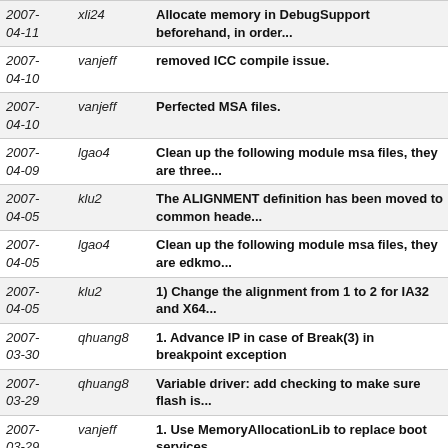| Date | User | Message |
| --- | --- | --- |
| 2007-04-11 | xli24 | Allocate memory in DebugSupport beforehand, in order... |
| 2007-04-10 | vanjeff | removed ICC compile issue. |
| 2007-04-10 | vanjeff | Perfected MSA files. |
| 2007-04-09 | lgao4 | Clean up the following module msa files, they are three... |
| 2007-04-05 | klu2 | The ALIGNMENT definition has been moved to common heade... |
| 2007-04-05 | lgao4 | Clean up the following module msa files, they are edkmo... |
| 2007-04-05 | klu2 | 1) Change the alignment from 1 to 2 for IA32 and X64... |
| 2007-03-30 | qhuang8 | 1. Advance IP in case of Break(3) in breakpoint exception |
| 2007-03-29 | qhuang8 | Variable driver: add checking to make sure flash is... |
| 2007-03-29 | vanjeff | 1. Use MemoryAllocationLib to replace boot services... |
| 2007-03-27 | klu2 | add new blank line for GCC build |
| 2007-03-26 | vanjeff | 1. Removed definition for EFI_1_1 from module ConSplitter |
| 2007-03-21 | vanjeff | 1. Removed #ifdef EDK_RELEASE_VERSION from all c files... |
| 2007- | gwang12 | Change the TPL lock level to EFI_TPL_NOTIFY. |